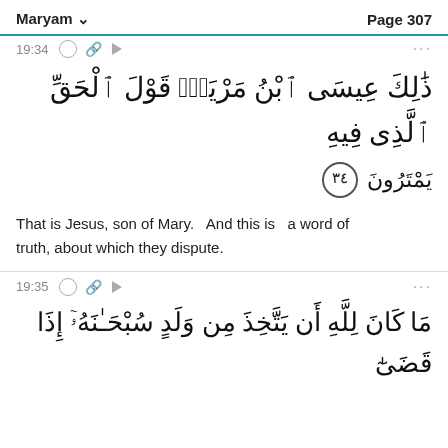Maryam    Page 307
19:34
ذَٰلِكَ عِيسَى ٱبْنُ مَرْيَمَ قَوْلَ ٱلْحَقِّ ٱلَّذِى فِيهِ يَمْتَرُونَ ٣٤
That is Jesus, son of Mary.   And this is   a word of truth, about which they dispute.
19:35
مَا كَانَ لِلَّهِ أَن يَتَّخِذَ مِن وَلَدٍ سُبْحَـٰنَهُۥٓ إِذَا قَضَىٰٓ